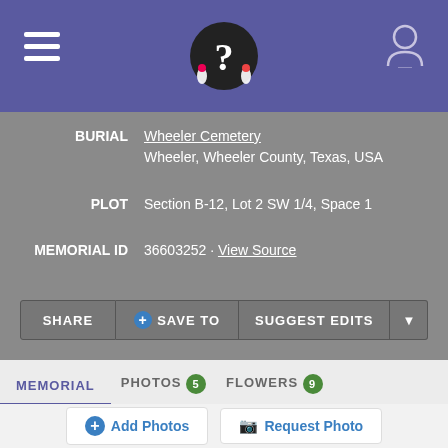[Figure (screenshot): Website header bar with purple background, hamburger menu icon on left, question mark logo in center, user icon on right]
BURIAL: Wheeler Cemetery
Wheeler, Wheeler County, Texas, USA
PLOT: Section B-12, Lot 2 SW 1/4, Space 1
MEMORIAL ID: 36603252 · View Source
SHARE | + SAVE TO | SUGGEST EDITS
MEMORIAL | PHOTOS 5 | FLOWERS 9
+ Add Photos | Request Photo
[Figure (photo): Two thumbnail photos at the bottom: left shows a grave site with text 'TWA Jack Free Grave Site Wheeler Texas', right shows people on horseback in black and white]